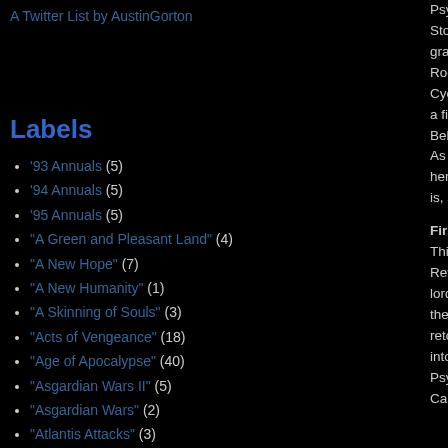A Twitter List by AustinGorton
Labels
'93 Annuals (5)
'94 Annuals (5)
'95 Annuals (5)
"A Green and Pleasant Land" (4)
"A New Hope" (7)
"A New Humanity" (1)
"A Skinning of Souls" (3)
"Acts of Vengeance" (18)
"Age of Apocalypse" (40)
"Asgardian Wars II" (5)
"Asgardian Wars" (2)
"Atlantis Attacks" (3)
"Bishop: The Mountjoy Crisis" (1)
"Bishop's Crossing" (3)
"Blood and Claws" (1)
"Blood Hungry" (1)
"Bloodties" (5)
Psylocke eme... Storm & Rogu... grandparents i... Room and ask... Cyclops, but th... a fight breaks... Believing it to... As the rest of t... her mask to re... is, and has alw...
Firsts and Oth...
This is the firs... Revanche, aka... lord who appe... the name she... retcon Nicieza... into an Asian c... Psylocke's mir... Caucasian bo...